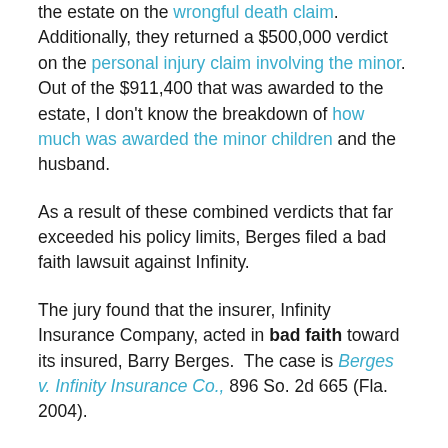the estate on the wrongful death claim. Additionally, they returned a $500,000 verdict on the personal injury claim involving the minor. Out of the $911,400 that was awarded to the estate, I don't know the breakdown of how much was awarded the minor children and the husband.
As a result of these combined verdicts that far exceeded his policy limits, Berges filed a bad faith lawsuit against Infinity.
The jury found that the insurer, Infinity Insurance Company, acted in bad faith toward its insured, Barry Berges. The case is Berges v. Infinity Insurance Co., 896 So. 2d 665 (Fla. 2004).
Thus, the family and minor child were able to